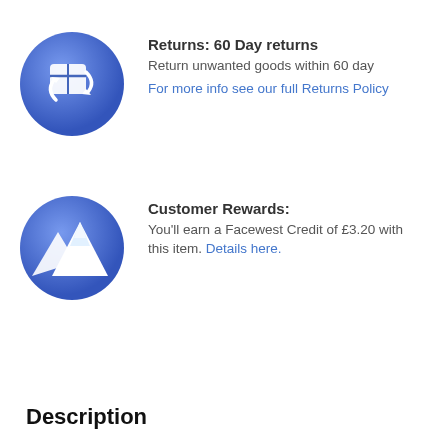[Figure (logo): Blue circle icon with return/exchange arrows symbol]
Returns: 60 Day returns
Return unwanted goods within 60 day
For more info see our full Returns Policy
[Figure (logo): Blue circle icon with mountain/peak symbol]
Customer Rewards:
You'll earn a Facewest Credit of £3.20 with this item. Details here.
Description